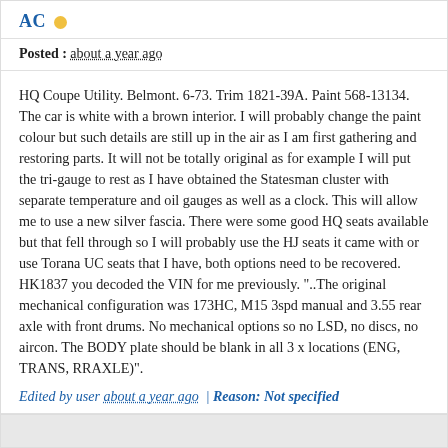AC •
Posted : about a year ago
HQ Coupe Utility. Belmont. 6-73. Trim 1821-39A. Paint 568-13134. The car is white with a brown interior. I will probably change the paint colour but such details are still up in the air as I am first gathering and restoring parts. It will not be totally original as for example I will put the tri-gauge to rest as I have obtained the Statesman cluster with separate temperature and oil gauges as well as a clock. This will allow me to use a new silver fascia. There were some good HQ seats available but that fell through so I will probably use the HJ seats it came with or use Torana UC seats that I have, both options need to be recovered.
HK1837 you decoded the VIN for me previously. "..The original mechanical configuration was 173HC, M15 3spd manual and 3.55 rear axle with front drums. No mechanical options so no LSD, no discs, no aircon. The BODY plate should be blank in all 3 x locations (ENG, TRANS, RRAXLE)".
Edited by user about a year ago | Reason: Not specified